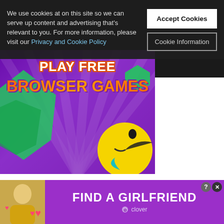[Figure (screenshot): Cookie consent banner overlay on a dark background, with text about cookie usage and two buttons: 'Accept Cookies' and 'Cookie Information']
We use cookies at on this site so we can serve up content and advertising that's relevant to you. For more information, please visit our Privacy and Cookie Policy
[Figure (photo): Colorful browser game promotional banner on purple background with text 'PLAY FREE BROWSER GAMES', green star shapes, and a 3D Pac-Man character]
Be the first to react to this post!
[Figure (advertisement): Purple advertisement banner for 'FIND A GIRLFRIEND' by Clover app, showing a blonde woman with heart emojis]